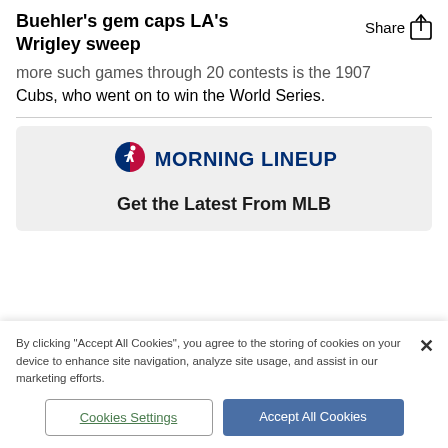Buehler's gem caps LA's Wrigley sweep
more such games through 20 contests is the 1907 Cubs, who went on to win the World Series.
[Figure (logo): MLB Morning Lineup logo with batter silhouette icon and text 'MORNING LINEUP']
Get the Latest From MLB
By clicking "Accept All Cookies", you agree to the storing of cookies on your device to enhance site navigation, analyze site usage, and assist in our marketing efforts.
Cookies Settings
Accept All Cookies